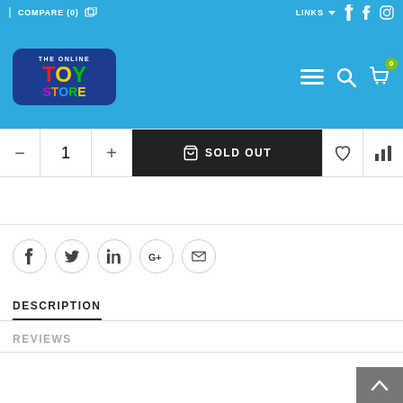COMPARE (0)    LINKS    f    instagram
[Figure (logo): The Online Toy Store logo — colorful text on dark blue rounded rectangle background]
[Figure (infographic): Navigation icons: hamburger menu, search, shopping cart with badge 0]
[Figure (infographic): Product action bar: minus button, quantity 1, plus button, SOLD OUT black button with cart icon, wishlist heart icon, compare bar-chart icon]
[Figure (infographic): Social share icons: Facebook, Twitter, LinkedIn, Google+, Email — circular bordered buttons]
DESCRIPTION
REVIEWS